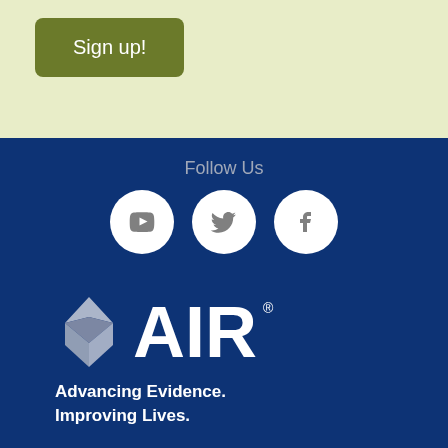Sign up!
Follow Us
[Figure (logo): Three social media icons in white circles on dark blue background: YouTube, Twitter, Facebook]
[Figure (logo): AIR logo with diamond/chevron icon and text 'AIR' with registered trademark symbol, tagline 'Advancing Evidence. Improving Lives.' on dark blue background]